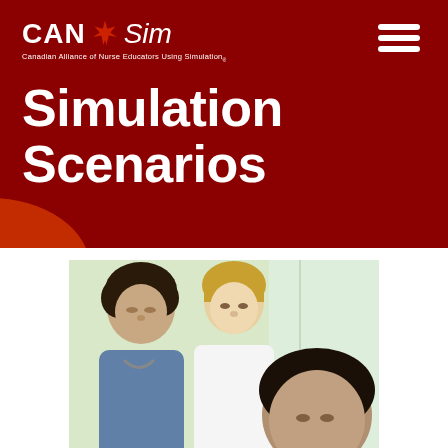CAN Sim — Canadian Alliance of Nurse Educators Using Simulation
Simulation Scenarios
[Figure (photo): Three medical professionals (two younger adults and one in foreground) looking downward together, one wearing a stethoscope, in a bright clinical or educational setting]